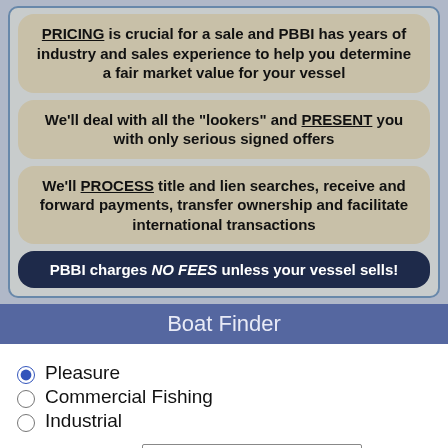PRICING is crucial for a sale and PBBI has years of industry and sales experience to help you determine a fair market value for your vessel
We'll deal with all the "lookers" and PRESENT you with only serious signed offers
We'll PROCESS title and lien searches, receive and forward payments, transfer ownership and facilitate international transactions
PBBI charges NO FEES unless your vessel sells!
Boat Finder
Pleasure
Commercial Fishing
Industrial
Price Range: -- ALL --
Length (feet): to
Manufacturer: -- ALL --